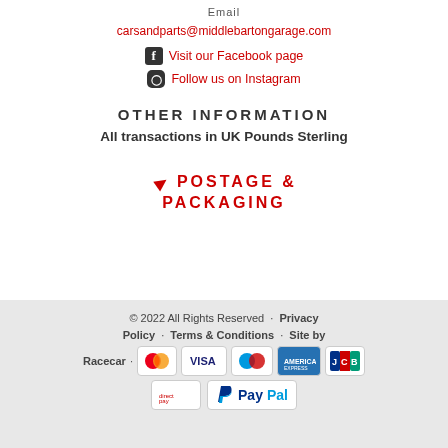Email
carsandparts@middlebartongarage.com
Visit our Facebook page
Follow us on Instagram
OTHER INFORMATION
All transactions in UK Pounds Sterling
POSTAGE & PACKAGING
© 2022 All Rights Reserved · Privacy Policy · Terms & Conditions · Site by Racecar